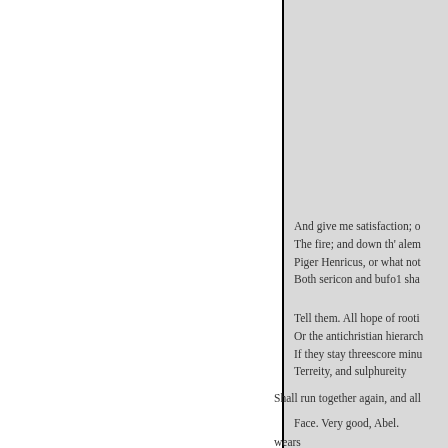And give me satisfaction; o
The fire; and down th' alem
Piger Henricus, or what not
Both sericon and bufo1 sha
Tell them. All hope of rooti
Or the antichristian hierarch
If they stay threescore minu
Terreity, and sulphureity
Shall run together again, and all
Face. Very good, Abel.
wears